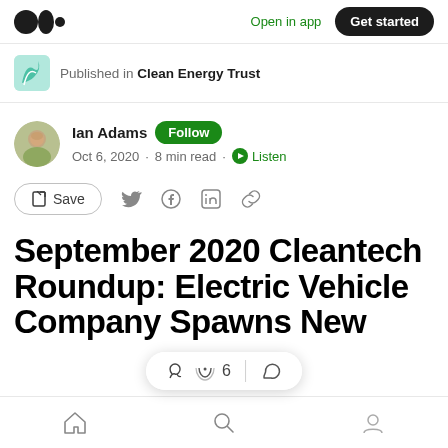Open in app  Get started
Published in Clean Energy Trust
Ian Adams  Follow
Oct 6, 2020 · 8 min read · Listen
Save
September 2020 Cleantech Roundup: Electric Vehicle Company Spawns New
Home  Search  Profile